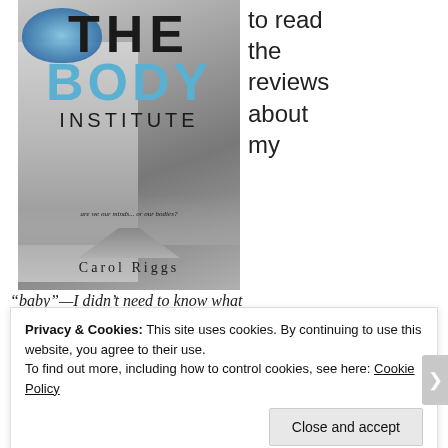[Figure (illustration): Book cover of 'The Body Institute' by Carol Riggs. Shows a woman's face with a glowing blue brain overlay, a cityscape, and a road. Tagline: 'are we our minds...or our bodies?']
to read the reviews about my
“baby”—I didn’t need to know what
Privacy & Cookies: This site uses cookies. By continuing to use this website, you agree to their use.
To find out more, including how to control cookies, see here: Cookie Policy
Close and accept